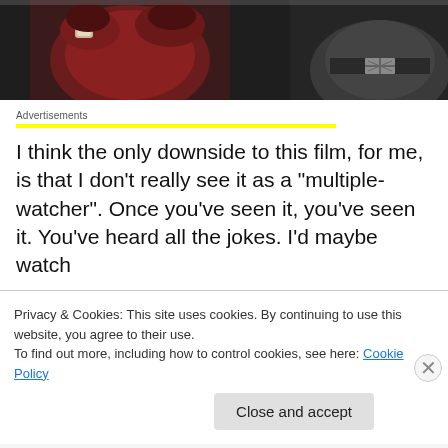[Figure (photo): Movie scene showing two characters in dark costumes, one in red/maroon and one in dark grey/black with a belt buckle, appears to be from a superhero film]
Advertisements
I think the only downside to this film, for me, is that I don't really see it as a “multiple-watcher”. Once you’ve seen it, you’ve seen it. You’ve heard all the jokes. I’d maybe watch
Privacy & Cookies: This site uses cookies. By continuing to use this website, you agree to their use.
To find out more, including how to control cookies, see here: Cookie Policy
Close and accept